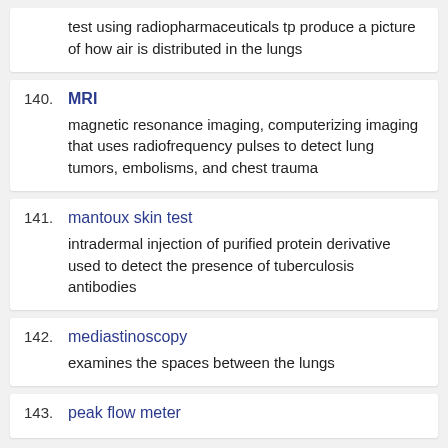test using radiopharmaceuticals tp produce a picture of how air is distributed in the lungs
140. MRI — magnetic resonance imaging, computerizing imaging that uses radiofrequency pulses to detect lung tumors, embolisms, and chest trauma
141. mantoux skin test — intradermal injection of purified protein derivative used to detect the presence of tuberculosis antibodies
142. mediastinoscopy — examines the spaces between the lungs
143. peak flow meter